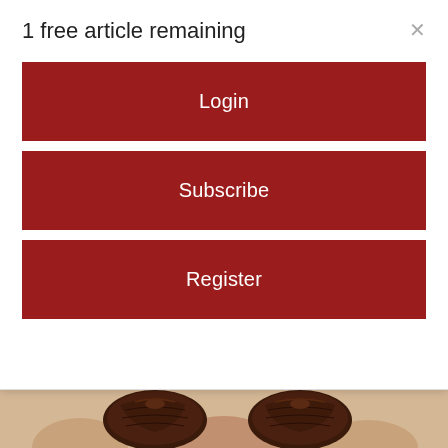1 free article remaining
Login
Subscribe
Register
[Figure (photo): Close-up photograph of dark brown dried dates held between fingers]